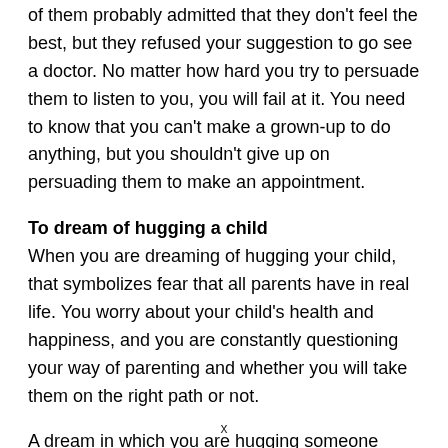of them probably admitted that they don't feel the best, but they refused your suggestion to go see a doctor. No matter how hard you try to persuade them to listen to you, you will fail at it. You need to know that you can't make a grown-up to do anything, but you shouldn't give up on persuading them to make an appointment.
To dream of hugging a child
When you are dreaming of hugging your child, that symbolizes fear that all parents have in real life. You worry about your child's health and happiness, and you are constantly questioning your way of parenting and whether you will take them on the right path or not.
A dream in which you are hugging someone else's child
x